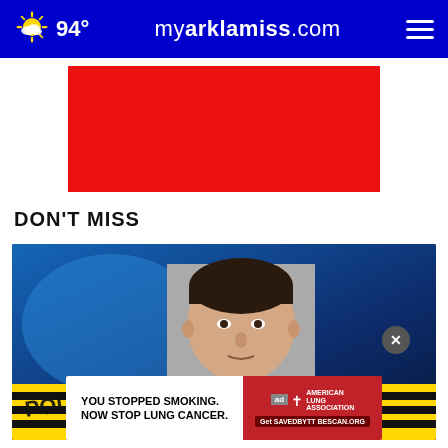94° myarklamiss.com
[Figure (other): Red advertisement block placeholder]
DON'T MISS
[Figure (photo): News article thumbnail: mugshot of a young man in white shirt, overlaid on a crime scene background with yellow police tape and blue background]
[Figure (other): Advertisement overlay: YOU STOPPED SMOKING. NOW STOP LUNG CANCER. American Lung Association. Get Savedbyttbescan.org]